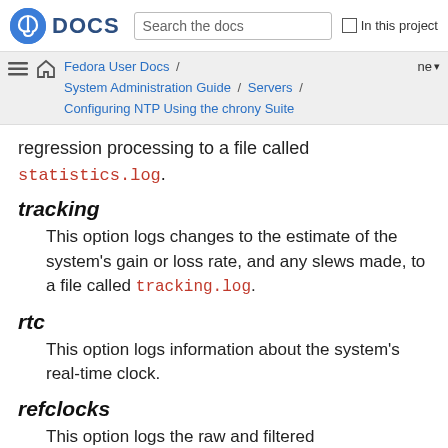DOCS — Search the docs — In this project
Fedora User Docs / System Administration Guide / Servers / Configuring NTP Using the chrony Suite
regression processing to a file called statistics.log.
tracking
This option logs changes to the estimate of the system's gain or loss rate, and any slews made, to a file called tracking.log.
rtc
This option logs information about the system's real-time clock.
refclocks
This option logs the raw and filtered reference clock measurements to a file.